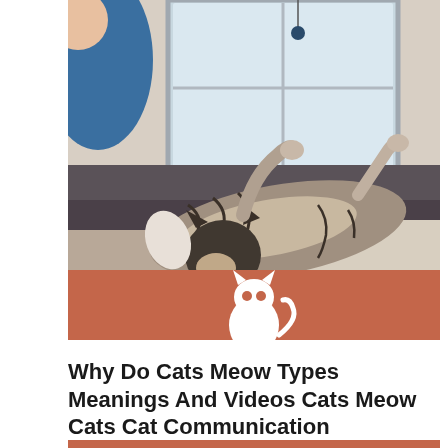[Figure (photo): A tabby cat lying on its back on a dark gray sofa/rug near a window, reaching upward with its paws as if playing. A person in a blue outfit is partially visible on the left. A small hanging toy is visible near the window. The lower portion of the image has a terracotta/rust-colored bar with a white cartoon cat icon logo.]
Why Do Cats Meow Types Meanings And Videos Cats Meow Cats Cat Communication